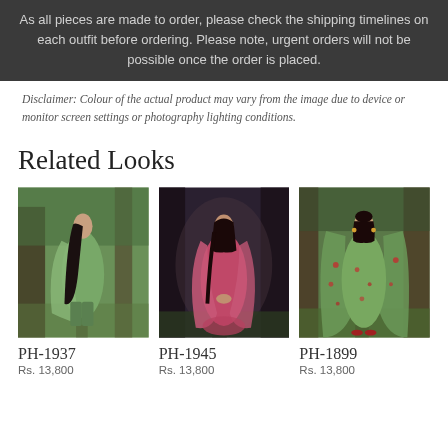As all pieces are made to order, please check the shipping timelines on each outfit before ordering. Please note, urgent orders will not be possible once the order is placed.
Disclaimer: Colour of the actual product may vary from the image due to device or monitor screen settings or photography lighting conditions.
Related Looks
[Figure (photo): Woman in green salwar kameez with dupatta, standing outdoors among trees]
PH-1937
Rs. 13,800
[Figure (photo): Woman in pink/fuchsia salwar kameez with dupatta, standing outdoors among trees]
PH-1945
Rs. 13,800
[Figure (photo): Woman in green floral printed salwar kameez with green dupatta, standing outdoors among trees]
PH-1899
Rs. 13,800